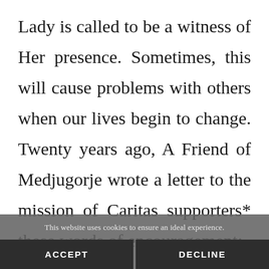Lady is called to be a witness of Her presence. Sometimes, this will cause problems with others when our lives begin to change. Twenty years ago, A Friend of Medjugorje wrote a letter to the mission of Caritas supporters* these words of encouragement:
This website uses cookies to ensure an ideal experience.
ACCEPT
DECLINE